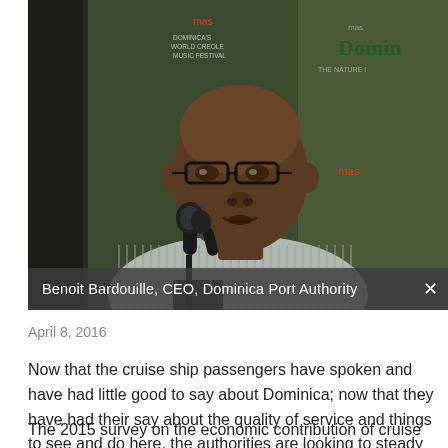[Figure (photo): A man (Benoit Bardouille, CEO, Dominica Port Authority) speaking at a microphone in front of a Dominica World Creole Music Festival banner background.]
Benoit Bardouille, CEO, Dominica Port Authority
April 8, 2016
Now that the cruise ship passengers have spoken and have had little good to say about Dominica; now that they have had their say about the quality of service and things to see and do here, the authorities are looking to steady the ship.
The 2015 survey on the economic contribution of cruise tourism conducted by custom market analysts Business Research and